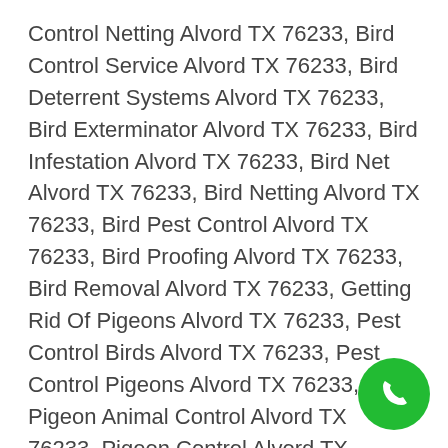Control Netting Alvord TX 76233, Bird Control Service Alvord TX 76233, Bird Deterrent Systems Alvord TX 76233, Bird Exterminator Alvord TX 76233, Bird Infestation Alvord TX 76233, Bird Net Alvord TX 76233, Bird Netting Alvord TX 76233, Bird Pest Control Alvord TX 76233, Bird Proofing Alvord TX 76233, Bird Removal Alvord TX 76233, Getting Rid Of Pigeons Alvord TX 76233, Pest Control Birds Alvord TX 76233, Pest Control Pigeons Alvord TX 76233, Pigeon Animal Control Alvord TX 76233, Pigeon Control Alvord TX 76233, Pigeon Control Service Alvord TX 76233, Pigeon Exterminator Alvord TX 76233, Pigeon Infestation Alvord TX 76233, Pigeon Alvord TX 76233, Pigeon Pest Control Alvord TX
[Figure (other): Green circular phone/call button in bottom-right corner]